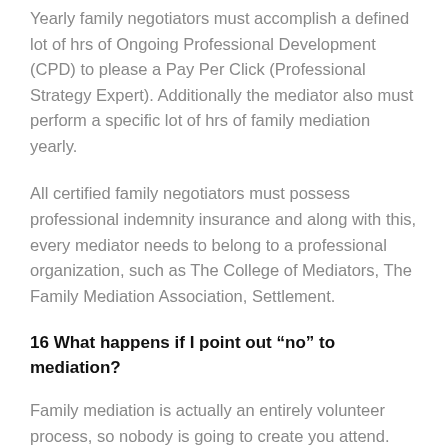Yearly family negotiators must accomplish a defined lot of hrs of Ongoing Professional Development (CPD) to please a Pay Per Click (Professional Strategy Expert). Additionally the mediator also must perform a specific lot of hrs of family mediation yearly.
All certified family negotiators must possess professional indemnity insurance and along with this, every mediator needs to belong to a professional organization, such as The College of Mediators, The Family Mediation Association, Settlement.
16 What happens if I point out “no” to mediation?
Family mediation is actually an entirely volunteer process, so nobody is going to create you attend. The selection to mediate drops to both celebrations and